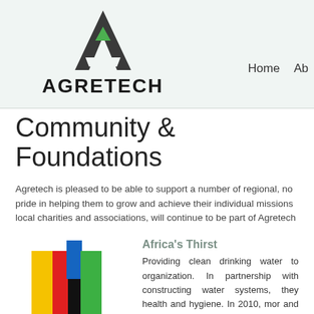[Figure (logo): Agretech logo: stylized A triangle shape in dark grey with a small green triangle inside, above the bold text AGRETECH]
Home  Ab
Community & Foundations
Agretech is pleased to be able to support a number of regional, no pride in helping them to grow and achieve their individual missions local charities and associations, will continue to be part of Agretech
[Figure (logo): Africa's Thirst logo: colorful cross/plus shape made of yellow, red, black, blue, and green rectangles, with text 'africa's THIRST' below]
Africa's Thirst
Providing clean drinking water to organization. In partnership with constructing water systems, they health and hygiene. In 2010, mor and trainers were funded, providir